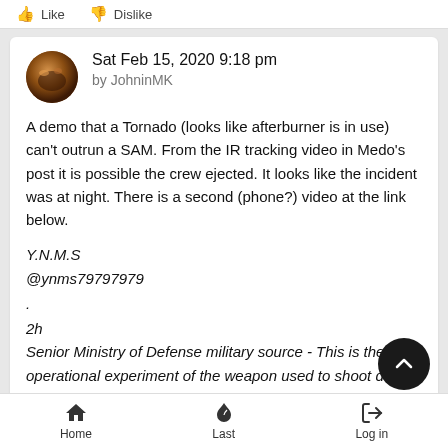Like   Dislike
Sat Feb 15, 2020 9:18 pm
by JohninMK
A demo that a Tornado (looks like afterburner is in use) can't outrun a SAM. From the IR tracking video in Medo's post it is possible the crew ejected. It looks like the incident was at night. There is a second (phone?) video at the link below.
Y.N.M.S
@ynms79797979
.
2h
Senior Ministry of Defense military source - This is the first operational experiment of the weapon used to shoot down the Tornado aircraft
.
Home   Last   Log in